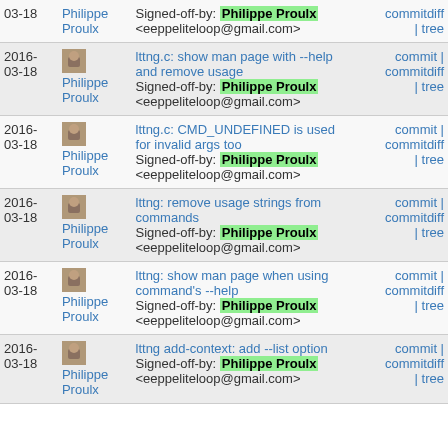| Date | Author | Message | Links |
| --- | --- | --- | --- |
| 03-18 | Philippe Proulx | Signed-off-by: Philippe Proulx <eeppeliteloop@gmail.com> | commitdiff | tree |
| 2016-03-18 | Philippe Proulx | lttng.c: show man page with --help and remove usage
Signed-off-by: Philippe Proulx <eeppeliteloop@gmail.com> | commit | commitdiff | tree |
| 2016-03-18 | Philippe Proulx | lttng.c: CMD_UNDEFINED is used for invalid args too
Signed-off-by: Philippe Proulx <eeppeliteloop@gmail.com> | commit | commitdiff | tree |
| 2016-03-18 | Philippe Proulx | lttng: remove usage strings from commands
Signed-off-by: Philippe Proulx <eeppeliteloop@gmail.com> | commit | commitdiff | tree |
| 2016-03-18 | Philippe Proulx | lttng: show man page when using command's --help
Signed-off-by: Philippe Proulx <eeppeliteloop@gmail.com> | commit | commitdiff | tree |
| 2016-03-18 | Philippe Proulx | lttng add-context: add --list option
Signed-off-by: Philippe Proulx <eeppeliteloop@gmail.com> | commit | commitdiff | tree |